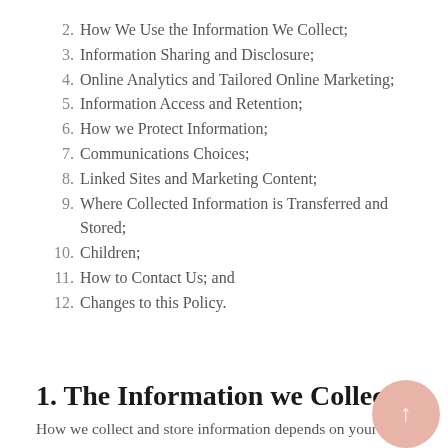2. How We Use the Information We Collect;
3. Information Sharing and Disclosure;
4. Online Analytics and Tailored Online Marketing;
5. Information Access and Retention;
6. How we Protect Information;
7. Communications Choices;
8. Linked Sites and Marketing Content;
9. Where Collected Information is Transferred and Stored;
10. Children;
11. How to Contact Us; and
12. Changes to this Policy.
1. The Information we Collect.
How we collect and store information depends on your